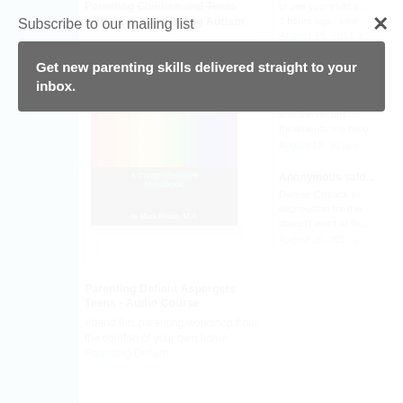Subscribe to our mailing list
Get new parenting skills delivered straight to your inbox.
Parenting Children and Teens with High-Functioning Autism
[Figure (photo): Book cover: Parenting Children and Teens with High-Functioning Autism: A Comprehensive Handbook by Mark Hutten, M.A.]
Parenting Defiant Aspergers Teens - Audio Course
Attend this parenting workshop from the comfort of your own home: Parenting Defiant
to see your child s...
3 hours ago · Like
August 18, 2011 a
Anonymous said...
So, depression is o... working on 'talkin... 12) and the recurri... treatments are reco...
August 19, 2011 a
Anonymous said...
Denise Cusack In... depression for the... doesn't want to liv...
August 20, 2011 a